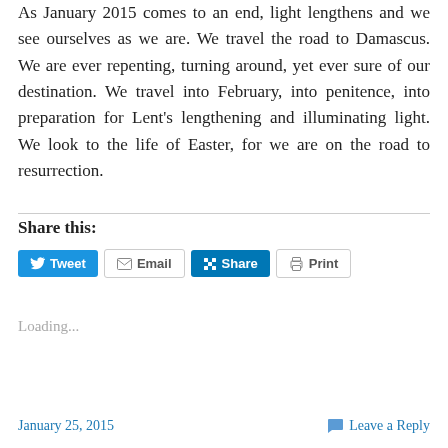As January 2015 comes to an end, light lengthens and we see ourselves as we are. We travel the road to Damascus. We are ever repenting, turning around, yet ever sure of our destination. We travel into February, into penitence, into preparation for Lent's lengthening and illuminating light. We look to the life of Easter, for we are on the road to resurrection.
Share this:
Loading...
January 25, 2015    Leave a Reply